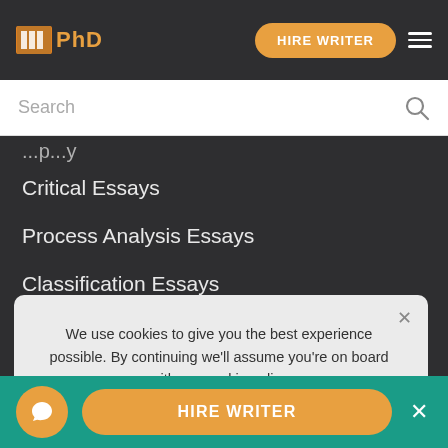PhD logo | HIRE WRITER | menu
Search
Critical Essays
Process Analysis Essays
Classification Essays
Exemplification Essays
Comparison and Contrast Essays
Exploratory Essay Examples
Proposal Essays
Satire Essays
We use cookies to give you the best experience possible. By continuing we'll assume you're on board with our cookie policy
HIRE WRITER